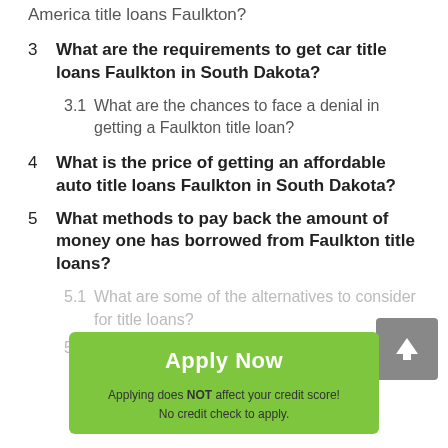America title loans Faulkton?
3  What are the requirements to get car title loans Faulkton in South Dakota?
3.1  What are the chances to face a denial in getting a Faulkton title loan?
4  What is the price of getting an affordable auto title loans Faulkton in South Dakota?
5  What methods to pay back the amount of money one has borrowed from Faulkton title loans?
5.1  What are some of the alternatives to consider for title loans?
5.2  How can online title loans Faulkton in South Dakota be proved to be helpful for anyone?
Apply Now
Applying does NOT affect your credit score!
No credit check to apply.